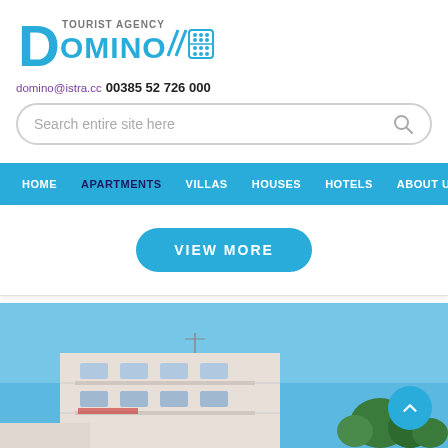[Figure (logo): Tourist Agency Domino logo with large D in cyan, text TOURIST AGENCY above OMINO in cyan, followed by a domino tile icon]
domino@istra.cc 00385 52 726 000
Search entire site here
HOME | APARTMENTS | VILLAS | HOUSES | HOTELS | ABOUT US
VIEW MORE
[Figure (photo): Exterior photo of an apartment or villa building with blue sky, trees, and balconies visible]